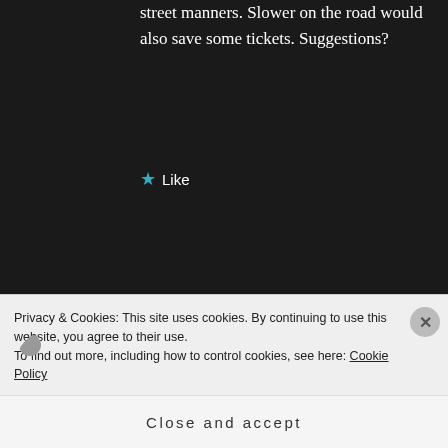street manners. Slower on the road would also save some tickets. Suggestions?
★ Like
NEIL JOHNSTON says: Log in to Reply
September 3, 2010 at 8:46 am
I'm on the same quest. Smaller, lighter… ok, not less power. I have a KTM 640 Adventure, Scar, which is
Privacy & Cookies: This site uses cookies. By continuing to use this website, you agree to their use.
To find out more, including how to control cookies, see here: Cookie Policy
Close and accept